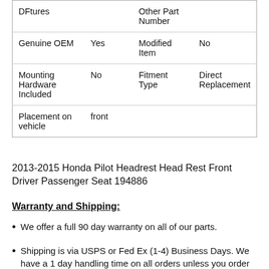| DFtures |  | Other Part Number |  |
| Genuine OEM | Yes | Modified Item | No |
| Mounting Hardware Included | No | Fitment Type | Direct Replacement |
| Placement on vehicle | front |  |  |
2013-2015 Honda Pilot Headrest Head Rest Front Driver Passenger Seat 194886
Warranty and Shipping:
We offer a full 90 day warranty on all of our parts.
Shipping is via USPS or Fed Ex (1-4) Business Days. We have a 1 day handling time on all orders unless you order before 9...